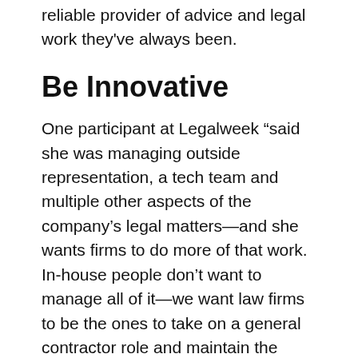reliable provider of advice and legal work they've always been.
Be Innovative
One participant at Legalweek “said she was managing outside representation, a tech team and multiple other aspects of the company’s legal matters—and she wants firms to do more of that work. In-house people don’t want to manage all of it—we want law firms to be the ones to take on a general contractor role and maintain the relationship,” she said. “To best serve the client, don’t offer to introduce them to a new technology tool